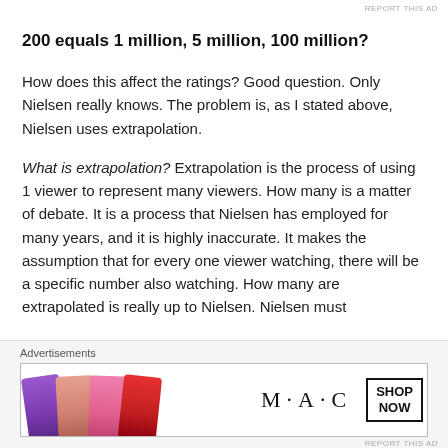200 equals 1 million, 5 million, 100 million?
How does this affect the ratings? Good question. Only Nielsen really knows. The problem is, as I stated above, Nielsen uses extrapolation.
What is extrapolation? Extrapolation is the process of using 1 viewer to represent many viewers. How many is a matter of debate. It is a process that Nielsen has employed for many years, and it is highly inaccurate. It makes the assumption that for every one viewer watching, there will be a specific number also watching. How many are extrapolated is really up to Nielsen. Nielsen must
[Figure (photo): MAC Cosmetics advertisement banner showing lipsticks in purple, peach, pink and red colors with MAC logo and SHOP NOW button]
Advertisements